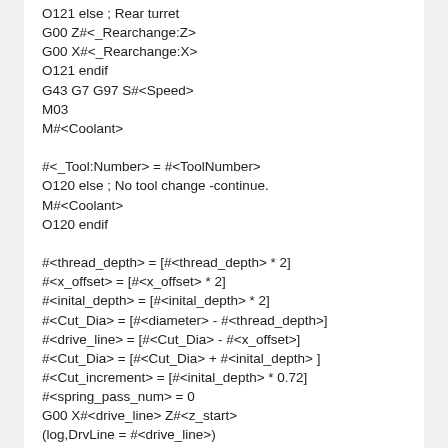O121 else ; Rear turret
G00 Z#<_Rearchange:Z>
G00 X#<_Rearchange:X>
O121 endif
G43 G7 G97 S#<Speed>
M03
M#<Coolant>

#<_Tool:Number> = #<ToolNumber>
O120 else ; No tool change -continue.
M#<Coolant>
O120 endif

#<thread_depth> = [#<thread_depth> * 2]
#<x_offset> = [#<x_offset> * 2]
#<inital_depth> = [#<inital_depth> * 2]
#<Cut_Dia> = [#<diameter> - #<thread_depth>]
#<drive_line> = [#<Cut_Dia> - #<x_offset>]
#<Cut_Dia> = [#<Cut_Dia> + #<inital_depth> ]
#<Cut_increment> = [#<inital_depth> * 0.72]
#<spring_pass_num> = 0
G00 X#<drive_line> Z#<z_start>
(log,DrvLine = #<drive_line>)
(log,CutDia = #<Cut_Dia>)
(log,CutInc = #<Cut_increment>)